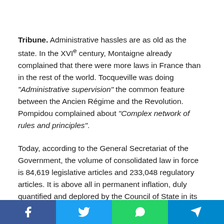Tribune. Administrative hassles are as old as the state. In the XVIe century, Montaigne already complained that there were more laws in France than in the rest of the world. Tocqueville was doing "Administrative supervision" the common feature between the Ancien Régime and the Revolution. Pompidou complained about "Complex network of rules and principles".
Today, according to the General Secretariat of the Government, the volume of consolidated law in force is 84,619 legislative articles and 233,048 regulatory articles. It is above all in permanent inflation, duly quantified and deplored by the Council of State in its regular reports on the subject. The multiplication of local authorities thickens the fog. No one is